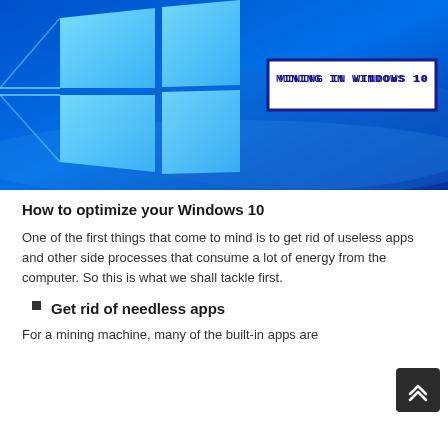[Figure (illustration): Blue Windows 10 logo on a blue gradient background with a white-bordered box containing the text 'MINING IN WINDOWS 10' in dark blue digital/LCD-style font]
How to optimize your Windows 10
One of the first things that come to mind is to get rid of useless apps and other side processes that consume a lot of energy from the computer. So this is what we shall tackle first.
Get rid of needless apps
For a mining machine, many of the built-in apps are